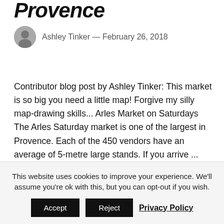Provence
Ashley Tinker — February 26, 2018
Contributor blog post by Ashley Tinker: This market is so big you need a little map! Forgive my silly map-drawing skills... Arles Market on Saturdays The Arles Saturday market is one of the largest in Provence. Each of the 450 vendors have an average of 5-metre large stands. If you arrive ...
READ MORE >
This website uses cookies to improve your experience. We'll assume you're ok with this, but you can opt-out if you wish. Accept Reject Privacy Policy